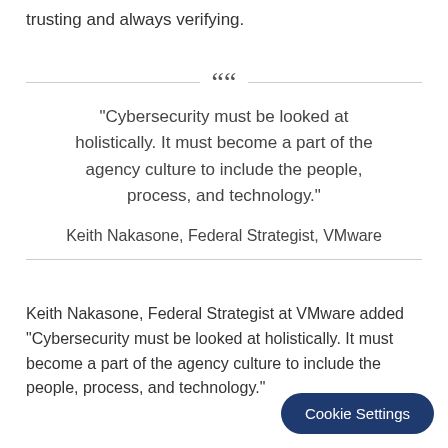trusting and always verifying.
“Cybersecurity must be looked at holistically. It must become a part of the agency culture to include the people, process, and technology.”
Keith Nakasone, Federal Strategist, VMware
Keith Nakasone, Federal Strategist at VMware added “Cybersecurity must be looked at holistically. It must become a part of the agency culture to include the people, process, and technology."